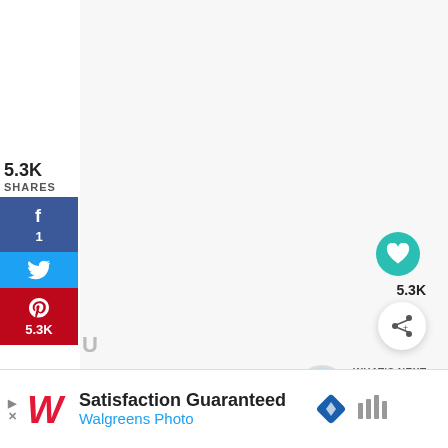5.3K SHARES
[Figure (infographic): Social share sidebar with Facebook button (count: 1), Twitter button, Pinterest button (count: 5.3K)]
[Figure (infographic): Floating teal heart button with 5.3K count below, and a white circular share button]
[Figure (infographic): What's Next promo with thumbnail and text '20 Easy Toddler...']
[Figure (infographic): Advertisement bar at bottom: Walgreens Photo — Satisfaction Guaranteed]